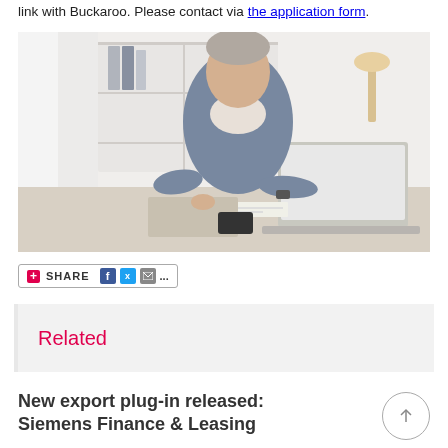link with Buckaroo. Please contact via the application form.
[Figure (photo): Man in grey shirt sitting at a desk working on a laptop, with notebooks and papers on the desk, in a bright office setting]
[Figure (infographic): Share bar with plus icon, SHARE text, Facebook, Twitter, email icons and ellipsis]
Related
New export plug-in released: Siemens Finance & Leasing